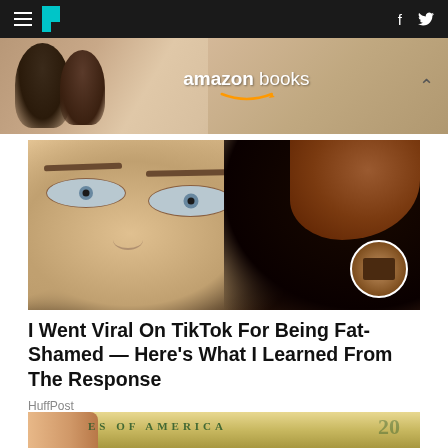HuffPost navigation bar with hamburger menu, logo, Facebook and Twitter icons
[Figure (photo): Amazon Books advertisement banner with photo of people reading]
[Figure (photo): Close-up photo of a woman's face with curly dark hair and blue-gray eyes, with a small circular inset photo]
I Went Viral On TikTok For Being Fat-Shamed — Here's What I Learned From The Response
HuffPost
[Figure (photo): Hands holding US $20 dollar bills, with text 'ES OF AMERICA' visible]